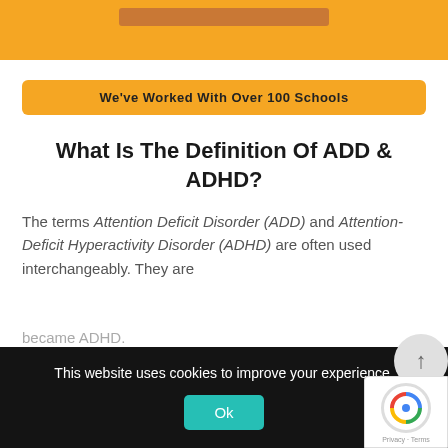[Figure (other): Top orange/yellow banner strip with a darker orange rectangular button element partially visible at the top]
We've Worked With Over 100 Schools
What Is The Definition Of ADD & ADHD?
The terms Attention Deficit Disorder (ADD) and Attention-Deficit Hyperactivity Disorder (ADHD) are often used interchangeably. They are actually the same condition but...became ADHD.
This website uses cookies to improve your experience.
Ok